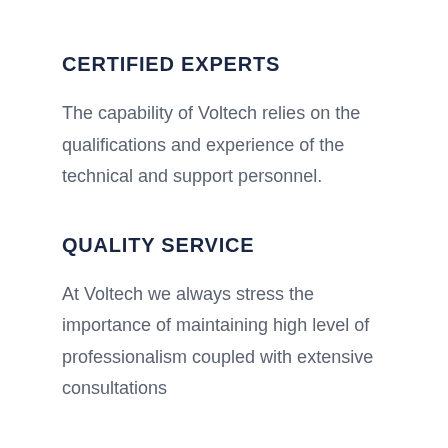CERTIFIED EXPERTS
The capability of Voltech relies on the qualifications and experience of the technical and support personnel.
QUALITY SERVICE
At Voltech we always stress the importance of maintaining high level of professionalism coupled with extensive consultations